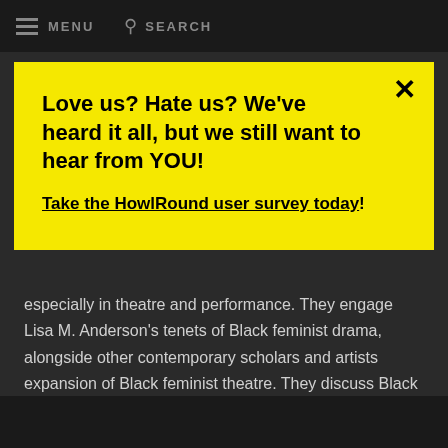MENU   SEARCH
Love us? Hate us? We've heard it all, but we still want to hear from YOU!
Take the HowlRound user survey today!
especially in theatre and performance. They engage Lisa M. Anderson's tenets of Black feminist drama, alongside other contemporary scholars and artists expansion of Black feminist theatre. They discuss Black feminist theory, black feminist practice in creative work, and black feminist theatre theory.